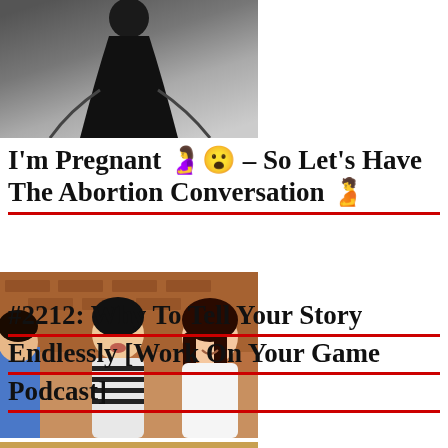[Figure (photo): Black and white photo of a person in a dark outfit, partially cropped, showing torso and legs]
I'm Pregnant 🤰😮‍💨 – So Let's Have The Abortion Conversation 🫄
[Figure (photo): Photo of three women laughing and talking together, sitting in a casual setting with a brick wall background]
#2212: Why To Tell Your Story Endlessly [Work On Your Game Podcast]
[Figure (photo): Partial photo of what appears to be a wooden surface or object, bottom of page cropped]